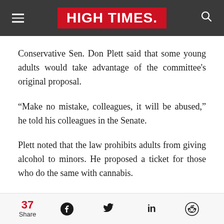HIGH TIMES
Conservative Sen. Don Plett said that some young adults would take advantage of the committee's original proposal.
“Make no mistake, colleagues, it will be abused,” he told his colleagues in the Senate.
Plett noted that the law prohibits adults from giving alcohol to minors. He proposed a ticket for those who do the same with cannabis.
37 Share | Facebook | Twitter | LinkedIn | Reddit